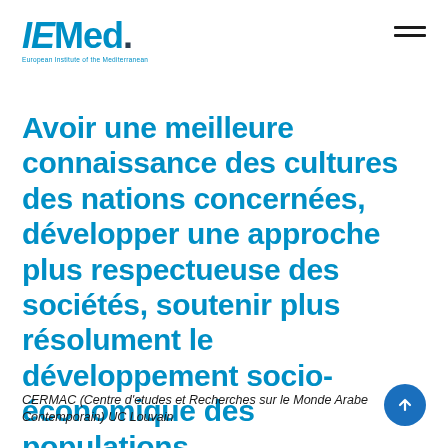IEMed. European Institute of the Mediterranean
Avoir une meilleure connaissance des cultures des nations concernées, développer une approche plus respectueuse des sociétés, soutenir plus résolument le développement socio-économique des populations.
CERMAC (Centre d'etudes et Recherches sur le Monde Arabe Contemporain) UC Louvain